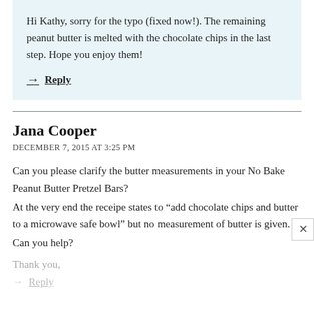Hi Kathy, sorry for the typo (fixed now!). The remaining peanut butter is melted with the chocolate chips in the last step. Hope you enjoy them!
→ Reply
Jana Cooper
DECEMBER 7, 2015 AT 3:25 PM
Can you please clarify the butter measurements in your No Bake Peanut Butter Pretzel Bars?
At the very end the receipe states to “add chocolate chips and butter to a microwave safe bowl” but no measurement of butter is given.
Can you help?
Thank you,
→ Reply